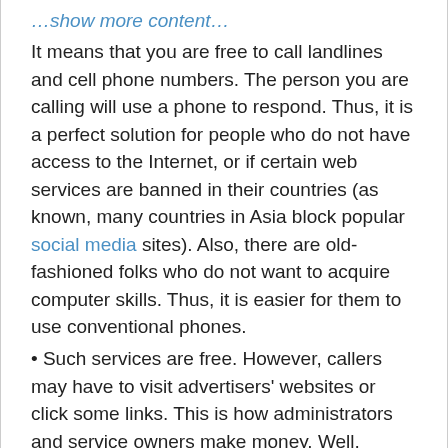…show more content…
It means that you are free to call landlines and cell phone numbers. The person you are calling will use a phone to respond. Thus, it is a perfect solution for people who do not have access to the Internet, or if certain web services are banned in their countries (as known, many countries in Asia block popular social media sites). Also, there are old-fashioned folks who do not want to acquire computer skills. Thus, it is easier for them to use conventional phones.
• Such services are free. However, callers may have to visit advertisers' websites or click some links. This is how administrators and service owners make money. Well, clicking a few links is not a big deal, is it? As a rule, such sites also offer paid services with no advertising, flexible